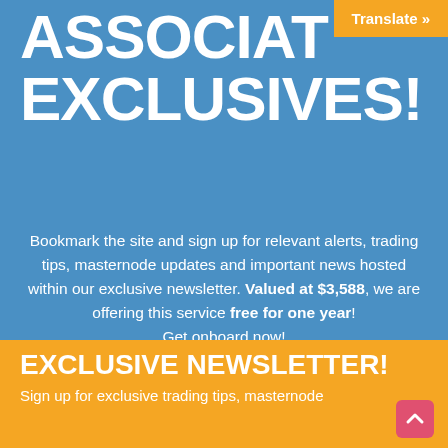ASSOCIAT EXCLUSIVES!
Bookmark the site and sign up for relevant alerts, trading tips, masternode updates and important news hosted within our exclusive newsletter. Valued at $3,588, we are offering this service free for one year! Get onboard now!
EXCLUSIVE NEWSLETTER!
Sign up for exclusive trading tips, masternode